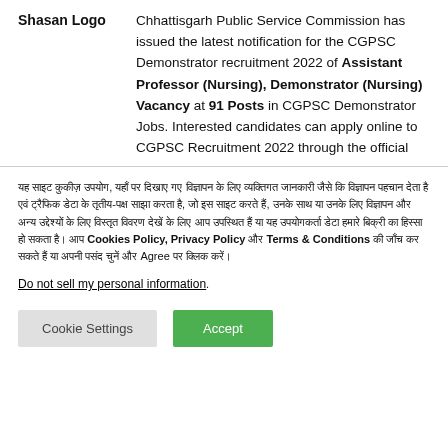Shasan Logo   Chhattisgarh Public Service Commission has issued the latest notification for the CGPSC Demonstrator recruitment 2022 of Assistant Professor (Nursing), Demonstrator (Nursing) Vacancy at 91 Posts in CGPSC Demonstrator Jobs. Interested candidates can apply online to CGPSC Recruitment 2022 through the official
Hindi language cookie consent notice text mentioning Cookies Policy, Privacy Policy and Terms & Conditions with Agree button.
Do not sell my personal information.
Cookie Settings | Accept